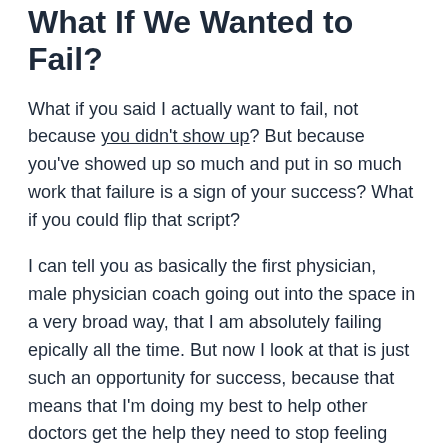What If We Wanted to Fail?
What if you said I actually want to fail, not because you didn't show up? But because you've showed up so much and put in so much work that failure is a sign of your success? What if you could flip that script?
I can tell you as basically the first physician, male physician coach going out into the space in a very broad way, that I am absolutely failing epically all the time. But now I look at that is just such an opportunity for success, because that means that I'm doing my best to help other doctors get the help they need to stop feeling burned out and overwhelmed.
I have completely flipped the script on failure. It doesn't make me who I am. I now recognize